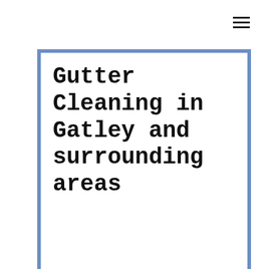[Figure (other): Hamburger menu icon (three horizontal lines) in top right corner]
Gutter Cleaning in Gatley and surrounding areas